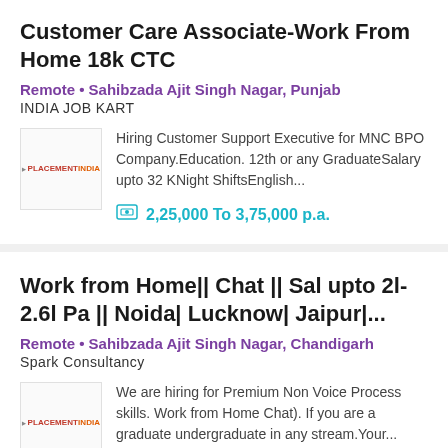Customer Care Associate-Work From Home 18k CTC
Remote • Sahibzada Ajit Singh Nagar, Punjab
INDIA JOB KART
[Figure (logo): PlacementIndia logo]
Hiring Customer Support Executive for MNC BPO Company.Education. 12th or any GraduateSalary upto 32 KNight ShiftsEnglish...
2,25,000 To 3,75,000 p.a.
Work from Home|| Chat || Sal upto 2l-2.6l Pa || Noida| Lucknow| Jaipur|...
Remote • Sahibzada Ajit Singh Nagar, Chandigarh
Spark Consultancy
[Figure (logo): PlacementIndia logo]
We are hiring for Premium Non Voice Process skills. Work from Home Chat). If you are a graduate undergraduate in any stream.Your...